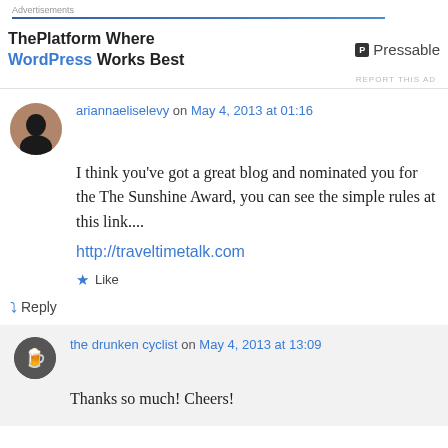Advertisements
[Figure (screenshot): Advertisement banner: ThePlatform Where WordPress Works Best | Pressable]
REPORT THIS AD
ariannaeliselevy on May 4, 2013 at 01:16
I think you've got a great blog and nominated you for the The Sunshine Award, you can see the simple rules at this link.... http://traveltimetalk.com
Like
Reply
the drunken cyclist on May 4, 2013 at 13:09
Thanks so much! Cheers!